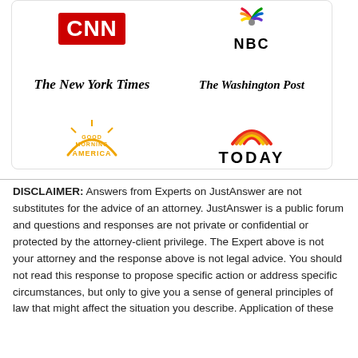[Figure (logo): Grid of media logos: CNN, NBC, The New York Times, The Washington Post, Good Morning America, TODAY]
DISCLAIMER: Answers from Experts on JustAnswer are not substitutes for the advice of an attorney. JustAnswer is a public forum and questions and responses are not private or confidential or protected by the attorney-client privilege. The Expert above is not your attorney and the response above is not legal advice. You should not read this response to propose specific action or address specific circumstances, but only to give you a sense of general principles of law that might affect the situation you describe. Application of these